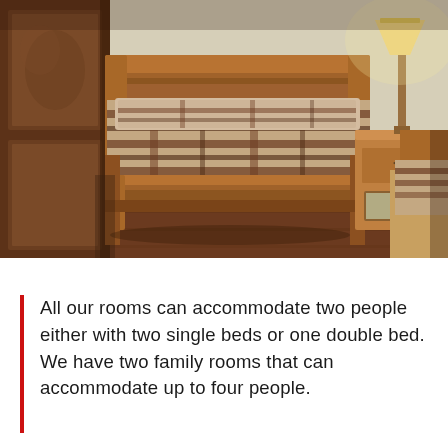[Figure (photo): Bedroom photo showing wooden twin/single bed with plaid brown and beige bedding, wooden headboard and footboard, wooden wardrobe on the left, bedside table with lamp on the right, and another bed partially visible on the far right. Warm tone interior with reddish-brown hardwood floor.]
All our rooms can accommodate two people either with two single beds or one double bed. We have two family rooms that can accommodate up to four people.